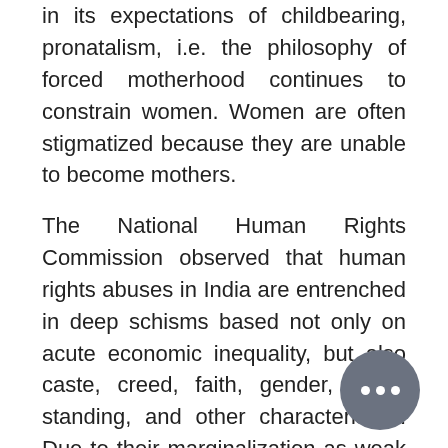in its expectations of childbearing, pronatalism, i.e. the philosophy of forced motherhood continues to constrain women. Women are often stigmatized because they are unable to become mothers.
The National Human Rights Commission observed that human rights abuses in India are entrenched in deep schisms based not only on acute economic inequality, but also caste, creed, faith, gender, social standing, and other characteristics. Due to their marginalization as weak women in India, where such aspects of domestic violence are commonly recognized as an integral part of the patriarchal social system in which